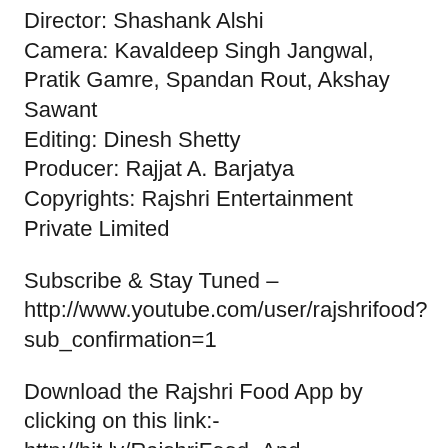Director: Shashank Alshi
Camera: Kavaldeep Singh Jangwal, Pratik Gamre, Spandan Rout, Akshay Sawant
Editing: Dinesh Shetty
Producer: Rajjat A. Barjatya
Copyrights: Rajshri Entertainment Private Limited
Subscribe & Stay Tuned – http://www.youtube.com/user/rajshrifood?sub_confirmation=1
Download the Rajshri Food App by clicking on this link:- http://bit.ly/RajshriFood_And